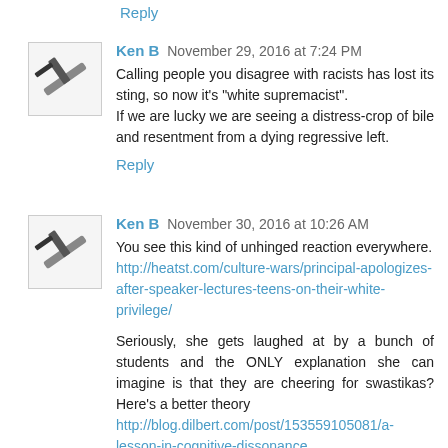Reply
Ken B  November 29, 2016 at 7:24 PM
Calling people you disagree with racists has lost its sting, so now it's "white supremacist".
If we are lucky we are seeing a distress-crop of bile and resentment from a dying regressive left.
Reply
Ken B  November 30, 2016 at 10:26 AM
You see this kind of unhinged reaction everywhere. http://heatst.com/culture-wars/principal-apologizes-after-speaker-lectures-teens-on-their-white-privilege/
Seriously, she gets laughed at by a bunch of students and the ONLY explanation she can imagine is that they are cheering for swastikas? Here's a better theory http://blog.dilbert.com/post/153559105081/a-lesson-in-cognitive-dissonance